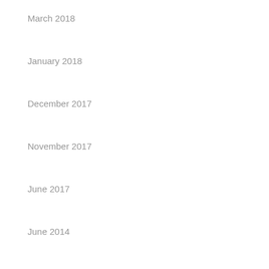March 2018
January 2018
December 2017
November 2017
June 2017
June 2014
May 2014
Categories
Lab Safety
Meta
Log in
Entries feed
Comments feed